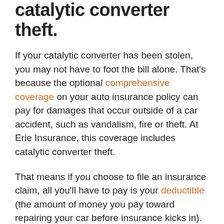catalytic converter theft.
If your catalytic converter has been stolen, you may not have to foot the bill alone. That's because the optional comprehensive coverage on your auto insurance policy can pay for damages that occur outside of a car accident, such as vandalism, fire or theft. At Erie Insurance, this coverage includes catalytic converter theft.
That means if you choose to file an insurance claim, all you'll have to pay is your deductible (the amount of money you pay toward repairing your car before insurance kicks in). If your catalytic converter is stolen, your local insurance agent can help you review your coverage and talk you through your options before you file a claim.